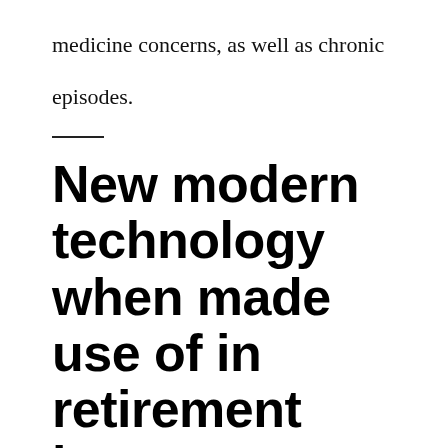medicine concerns, as well as chronic episodes.
New modern technology when made use of in retirement home use:
Digital medical records for very easy accessibility to check wellness and drugs for allergic reactions.